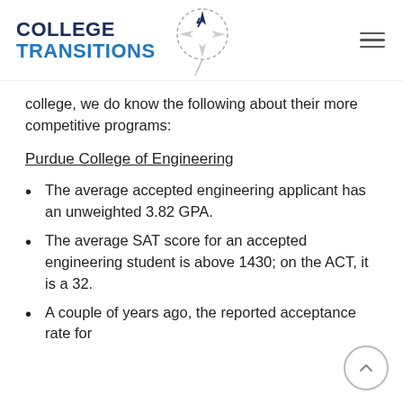COLLEGE TRANSITIONS
college, we do know the following about their more competitive programs:
Purdue College of Engineering
The average accepted engineering applicant has an unweighted 3.82 GPA.
The average SAT score for an accepted engineering student is above 1430; on the ACT, it is a 32.
A couple of years ago, the reported acceptance rate for